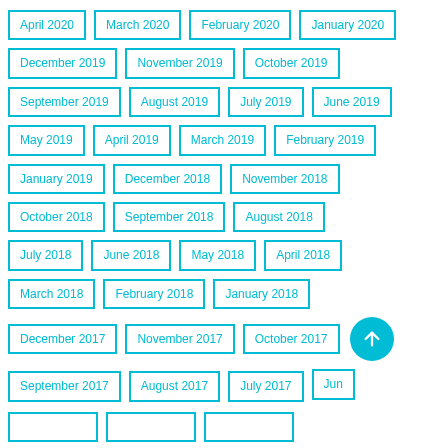April 2020
March 2020
February 2020
January 2020
December 2019
November 2019
October 2019
September 2019
August 2019
July 2019
June 2019
May 2019
April 2019
March 2019
February 2019
January 2019
December 2018
November 2018
October 2018
September 2018
August 2018
July 2018
June 2018
May 2018
April 2018
March 2018
February 2018
January 2018
December 2017
November 2017
October 2017
September 2017
August 2017
July 2017
June 2017